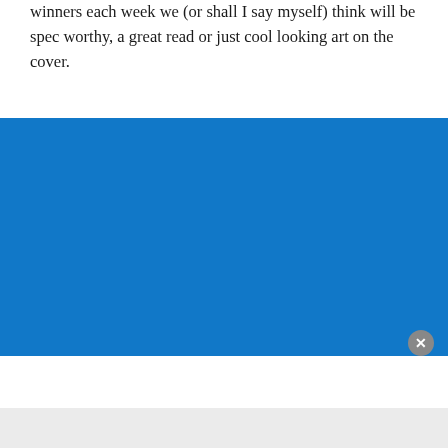winners each week we (or shall I say myself) think will be spec worthy, a great read or just cool looking art on the cover.
[Figure (other): Solid blue rectangular banner/advertisement block]